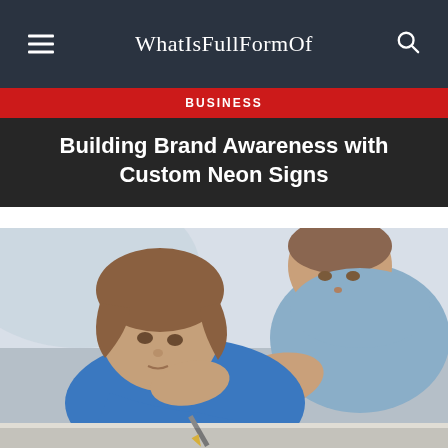WhatIsFullFormOf
BUSINESS
Building Brand Awareness with Custom Neon Signs
[Figure (photo): A young boy in a blue shirt resting his head on his hand while writing, with an adult man in a light blue shirt leaning over to help him, viewed from above against a light background.]